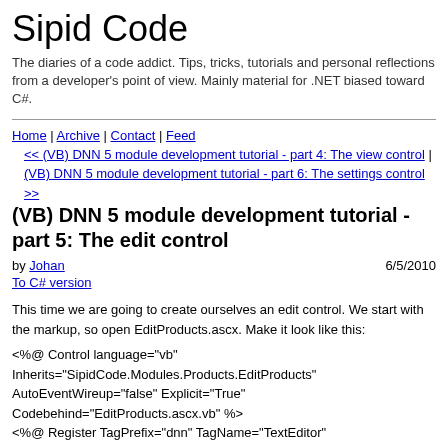Sipid Code
The diaries of a code addict. Tips, tricks, tutorials and personal reflections from a developer's point of view. Mainly material for .NET biased toward C#.
Home | Archive | Contact | Feed
<< (VB) DNN 5 module development tutorial - part 4: The view control | (VB) DNN 5 module development tutorial - part 6: The settings control >>
(VB) DNN 5 module development tutorial - part 5: The edit control
by Johan   6/5/2010
To C# version
This time we are going to create ourselves an edit control. We start with the markup, so open EditProducts.ascx. Make it look like this:
<%@ Control language="vb"
Inherits="SipidCode.Modules.Products.EditProducts"
AutoEventWireup="false" Explicit="True"
Codebehind="EditProducts.ascx.vb" %>
<%@ Register TagPrefix="dnn" TagName="TextEditor"
Src="~/controls/TextEditor.ascx"%>
<table width="650" border="0" summary="Edit Product Item">